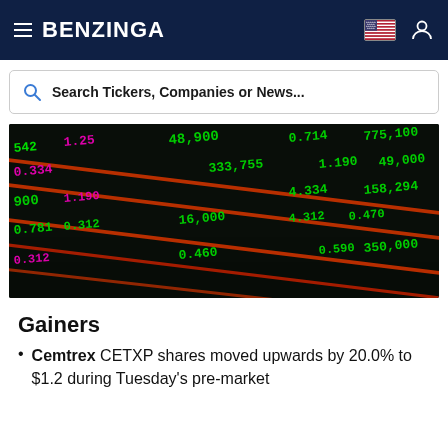BENZINGA
Search Tickers, Companies or News...
[Figure (photo): Close-up photo of a stock market ticker board displaying green and magenta numbers and prices on a dark background with diagonal red lines.]
Gainers
Cemtrex CETXP shares moved upwards by 20.0% to $1.2 during Tuesday's pre-market